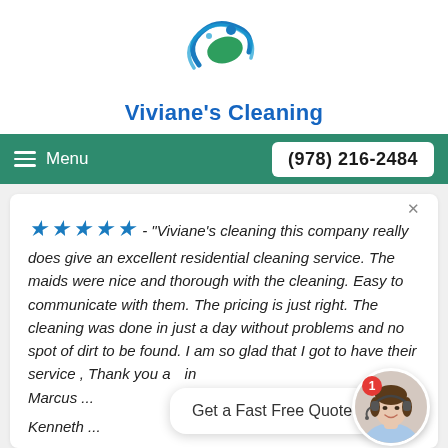[Figure (logo): Viviane's Cleaning circular logo with blue water swirls and green leaf motif]
Viviane's Cleaning
Menu   (978) 216-2484
★★★★★ - "Viviane's cleaning this company really does give an excellent residential cleaning service. The maids were nice and thorough with the cleaning. Easy to communicate with them. The pricing is just right. The cleaning was done in just a day without problems and no spot of dirt to be found. I am so glad that I got to have their service , Thank you again Marcus ...  Kenneth ...
Get a Fast Free Quote Today!
[Figure (photo): Customer service representative with headset, circular avatar photo]